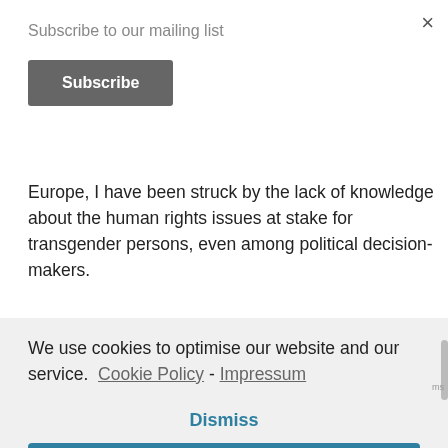×
Subscribe to our mailing list
Subscribe
Europe, I have been struck by the lack of knowledge about the human rights issues at stake for transgender persons, even among political decision-makers.
We use cookies to optimise our website and our service.  Cookie Policy  -  Impressum
Accept all
Dismiss